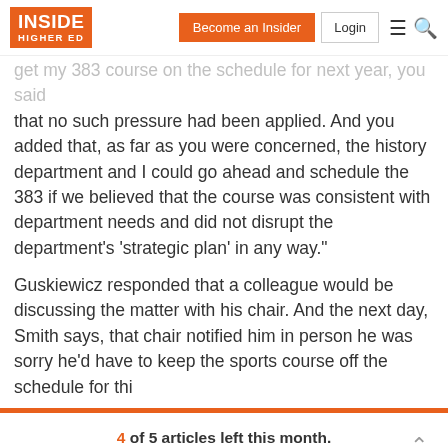Inside Higher Ed | Become an Insider | Login
get my 383 course on the schedule for next year, you said that no such pressure had been applied. And you added that, as far as you were concerned, the history department and I could go ahead and schedule the 383 if we believed that the course was consistent with department needs and did not disrupt the department's ‘strategic plan’ in any way.”
Guskiewicz responded that a colleague would be discussing the matter with his chair. And the next day, Smith says, that chair notified him in person he was sorry he’d have to keep the sports course off the schedule for thi…
4 of 5 articles left this month.
Sign up for a free account or Log in.